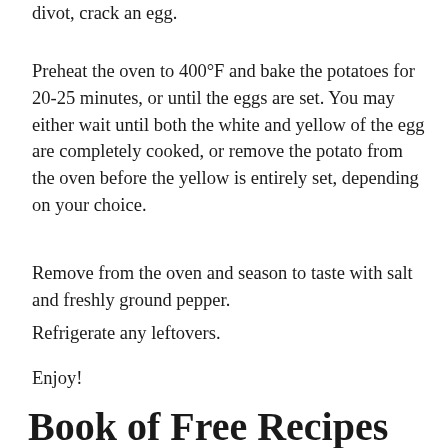divot, crack an egg.
Preheat the oven to 400°F and bake the potatoes for 20-25 minutes, or until the eggs are set. You may either wait until both the white and yellow of the egg are completely cooked, or remove the potato from the oven before the yellow is entirely set, depending on your choice.
Remove from the oven and season to taste with salt and freshly ground pepper.
Refrigerate any leftovers.
Enjoy!
Book of Free Recipes